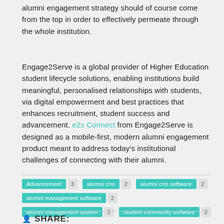alumni engagement strategy should of course come from the top in order to effectively permeate through the whole institution.
Engage2Serve is a global provider of Higher Education student lifecycle solutions, enabling institutions build meaningful, personalised relationships with students, via digital empowerment and best practices that enhances recruitment, student success and advancement. e2s Connect from Engage2Serve is designed as a mobile-first, modern alumni engagement product meant to address today's institutional challenges of connecting with their alumni.
Advancement 3   alumni crm 2   alumni crm software 2
alumni management software 2
alumni management system 2   student community software 2
SHARE: